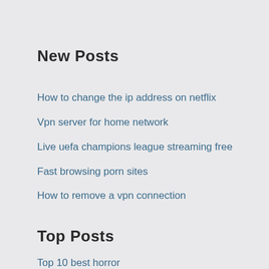New Posts
How to change the ip address on netflix
Vpn server for home network
Live uefa champions league streaming free
Fast browsing porn sites
How to remove a vpn connection
Top Posts
Top 10 best horror